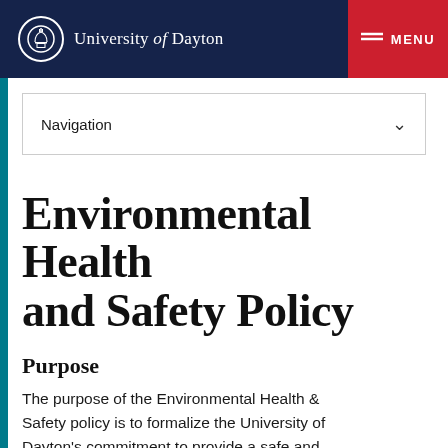University of Dayton | MENU
Navigation
Environmental Health and Safety Policy
Purpose
The purpose of the Environmental Health & Safety policy is to formalize the University of Dayton's commitment to provide a safe and healthy environment for all students, faculty, staff and visitors of our campus community and to define a strategy for achieving and maintaining